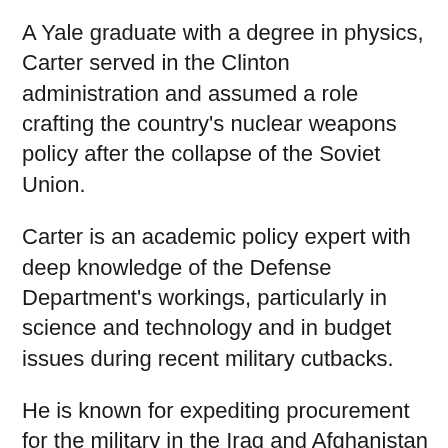A Yale graduate with a degree in physics, Carter served in the Clinton administration and assumed a role crafting the country's nuclear weapons policy after the collapse of the Soviet Union.
Carter is an academic policy expert with deep knowledge of the Defense Department's workings, particularly in science and technology and in budget issues during recent military cutbacks.
He is known for expediting procurement for the military in the Iraq and Afghanistan wars.
Carter directed the Center for Science and International Affairs at Harvard University in the early 90s, taught physics at Oxford and has various fellowships and board positions based on his defense and science credentials.